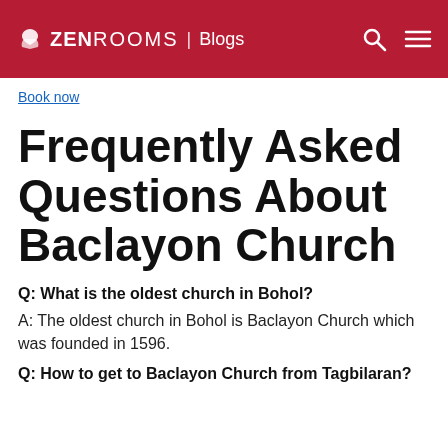ZEN ROOMS | Blogs
Book now
Frequently Asked Questions About Baclayon Church
Q: What is the oldest church in Bohol?
A: The oldest church in Bohol is Baclayon Church which was founded in 1596.
Q: How to get to Baclayon Church from Tagbilaran?